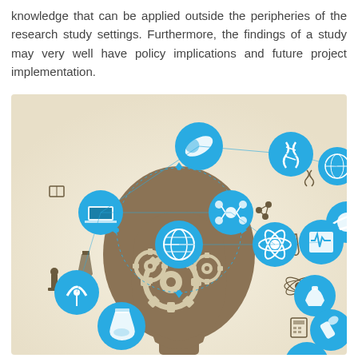knowledge that can be applied outside the peripheries of the research study settings. Furthermore, the findings of a study may very well have policy implications and future project implementation.
[Figure (illustration): An infographic illustration of a human head silhouette in brown/tan color, filled with gears inside, surrounded by a large cloud of scientific and knowledge icons (books, molecules, telescopes, microscopes, computers, DNA, atoms, satellites, test tubes, etc.) and multiple blue circular badges/icons representing different scientific disciplines (medicine, biology, physics, technology, astronomy, chemistry, data science, etc.).]